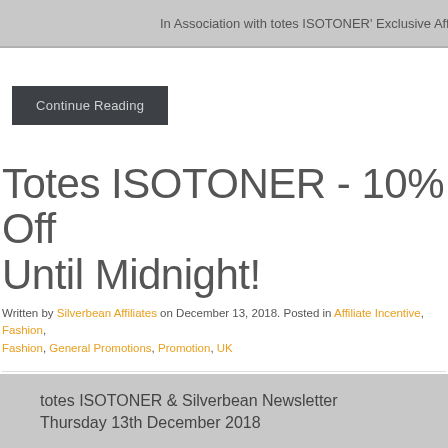In Association with totes ISOTONER' Exclusive Affiliate P
Continue Reading
Totes ISOTONER - 10% Off Until Midnight!
Written by Silverbean Affiliates on December 13, 2018. Posted in Affiliate Incentive, Fashion, Fashion, General Promotions, Promotion, UK
totes ISOTONER & Silverbean Newsletter
Thursday 13th December 2018
[Figure (photo): Small image placeholder with broken image icon (green/white arrow icon)]